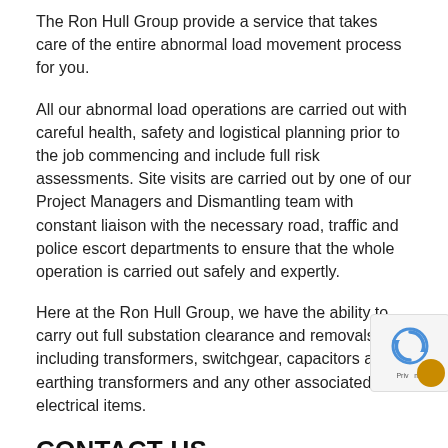The Ron Hull Group provide a service that takes care of the entire abnormal load movement process for you.
All our abnormal load operations are carried out with careful health, safety and logistical planning prior to the job commencing and include full risk assessments. Site visits are carried out by one of our Project Managers and Dismantling team with constant liaison with the necessary road, traffic and police escort departments to ensure that the whole operation is carried out safely and expertly.
Here at the Ron Hull Group, we have the ability to carry out full substation clearance and removals including transformers, switchgear, capacitors and earthing transformers and any other associated electrical items.
CONTACT US
Please contact us here and one of our highly experienced